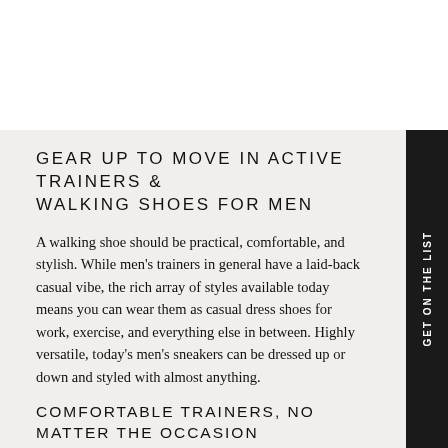[Figure (photo): White blank space at top of page, approximately 130px tall]
GEAR UP TO MOVE IN ACTIVE TRAINERS & WALKING SHOES FOR MEN
A walking shoe should be practical, comfortable, and stylish. While men's trainers in general have a laid-back casual vibe, the rich array of styles available today means you can wear them as casual dress shoes for work, exercise, and everything else in between. Highly versatile, today's men's sneakers can be dressed up or down and styled with almost anything.
COMFORTABLE TRAINERS, NO MATTER THE OCCASION
Vionic offers an impressive selection of comfortable walking shoes, ideal for getting some fresh air by exploring the great outdoors, attending barbecues,